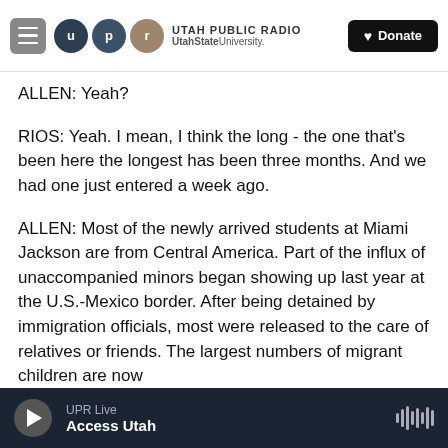UTAH PUBLIC RADIO — UtahState University — Donate
ALLEN: Yeah?
RIOS: Yeah. I mean, I think the long - the one that's been here the longest has been three months. And we had one just entered a week ago.
ALLEN: Most of the newly arrived students at Miami Jackson are from Central America. Part of the influx of unaccompanied minors began showing up last year at the U.S.-Mexico border. After being detained by immigration officials, most were released to the care of relatives or friends. The largest numbers of migrant children are now
UPR Live — Access Utah